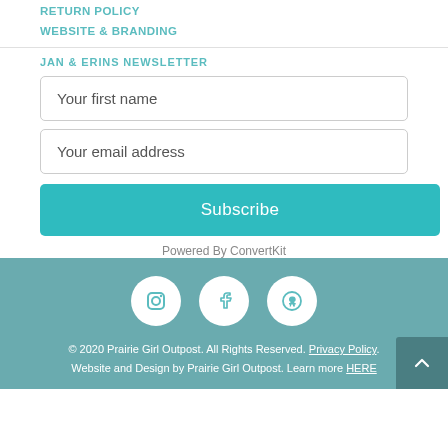RETURN POLICY
WEBSITE & BRANDING
JAN & ERINS NEWSLETTER
Your first name
Your email address
Subscribe
Powered By ConvertKit
© 2020 Prairie Girl Outpost. All Rights Reserved. Privacy Policy. Website and Design by Prairie Girl Outpost. Learn more HERE